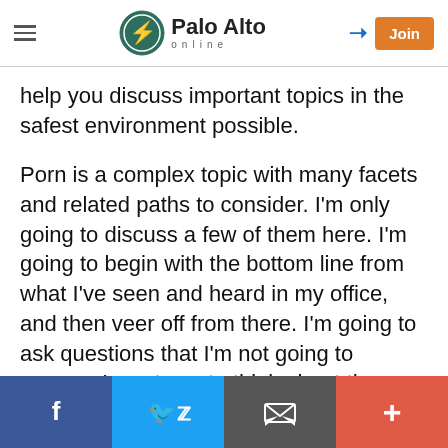Palo Alto online
help you discuss important topics in the safest environment possible.
Porn is a complex topic with many facets and related paths to consider. I'm only going to discuss a few of them here. I'm going to begin with the bottom line from what I've seen and heard in my office, and then veer off from there. I'm going to ask questions that I'm not going to answer. I want you to think about them from your own perspective, from your partner's, and from the men and women you know, as well as attitudes about pornography in your family.
Facebook | Twitter | Email | More